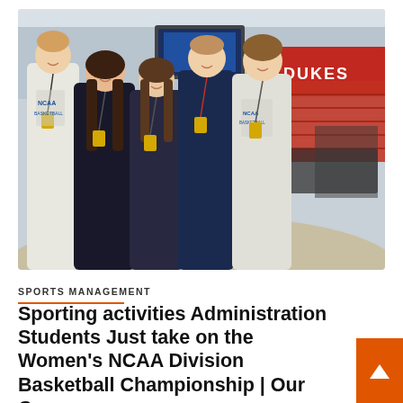[Figure (photo): Five students wearing NCAA Basketball Championship lanyards and badges posing together inside a sports arena. Two are in white NCAA basketball tournament t-shirts, two in dark/black jackets, and one in a dark polo. Red arena seating and a scoreboard screen visible in background.]
SPORTS MANAGEMENT
Sporting activities Administration Students Just take on the Women's NCAA Division Basketball Championship | Our Campus